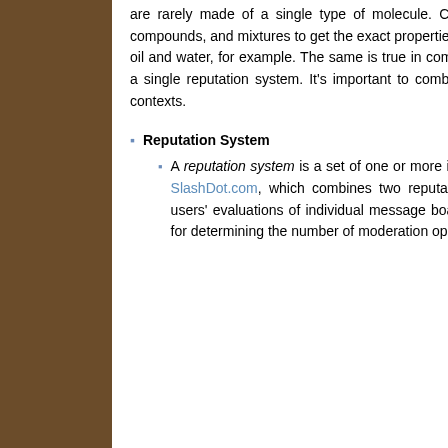are rarely made of a single type of molecule. Chemists combine molecules into solutions, compounds, and mixtures to get the exact properties they want. But not all substances mix well-oil and water, for example. The same is true in combining multiple reputation model contexts in a single reputation system. It's important to combine only models with compatible reputation contexts.
Reputation System
A reputation system is a set of one or more interacting reputation models. An example is SlashDot.com, which combines two reputation models: an entity reputation model of users' evaluations of individual message board postings, and a karma reputation model for determining the number of moderation opportunities granted to users to